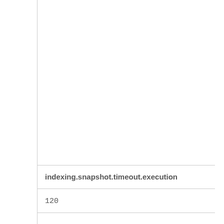indexing.snapshot.timeout.execution
120